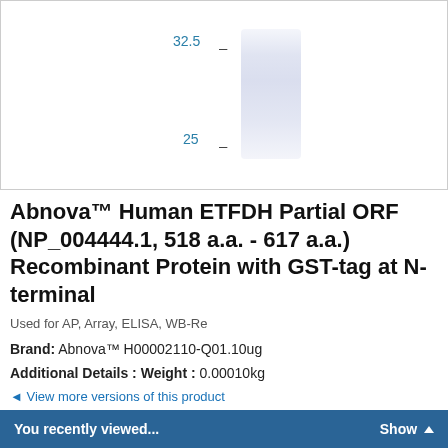[Figure (other): Western blot image showing a protein band between the 25 kDa and 32.5 kDa molecular weight markers, in a single lane with a light purple/blue band staining.]
Abnova™ Human ETFDH Partial ORF (NP_004444.1, 518 a.a. - 617 a.a.) Recombinant Protein with GST-tag at N-terminal
Used for AP, Array, ELISA, WB-Re
Brand:  Abnova™ H00002110-Q01.10ug
Additional Details : Weight : 0.00010kg
◄ View more versions of this product
You recently viewed...   Show ▲